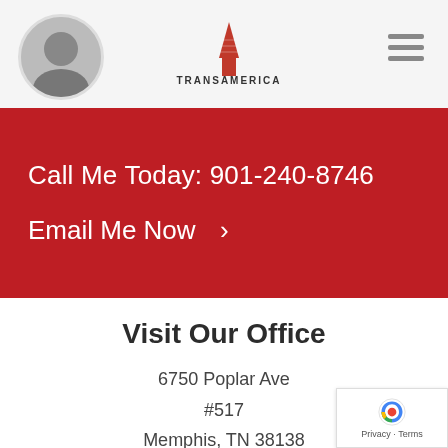[Figure (photo): Circular avatar photo of a man in a tuxedo/bow tie, set against light gray background in the header area]
[Figure (logo): Transamerica Agency Network logo with red pyramid/building icon above the text TRANSAMERICA AGENCY NETWORK]
Call Me Today: 901-240-8746
Email Me Now  >
Visit Our Office
6750 Poplar Ave
#517
Memphis, TN 38138